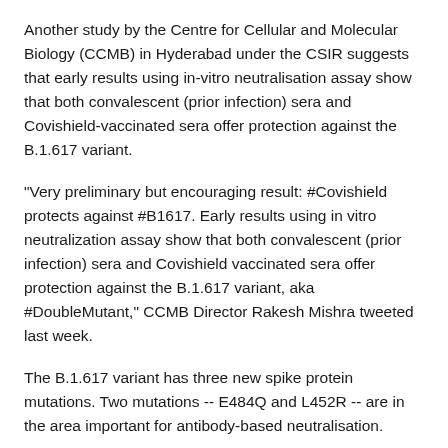Another study by the Centre for Cellular and Molecular Biology (CCMB) in Hyderabad under the CSIR suggests that early results using in-vitro neutralisation assay show that both convalescent (prior infection) sera and Covishield-vaccinated sera offer protection against the B.1.617 variant.
"Very preliminary but encouraging result: #Covishield protects against #B1617. Early results using in vitro neutralization assay show that both convalescent (prior infection) sera and Covishield vaccinated sera offer protection against the B.1.617 variant, aka #DoubleMutant," CCMB Director Rakesh Mishra tweeted last week.
The B.1.617 variant has three new spike protein mutations. Two mutations -- E484Q and L452R -- are in the area important for antibody-based neutralisation.